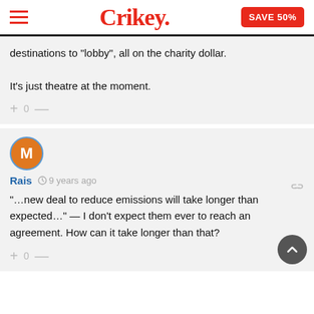Crikey. SAVE 50%
destinations to “lobby”, all on the charity dollar.
It’s just theatre at the moment.
Rais · 9 years ago
“…new deal to reduce emissions will take longer than expected…” — I don’t expect them ever to reach an agreement. How can it take longer than that?